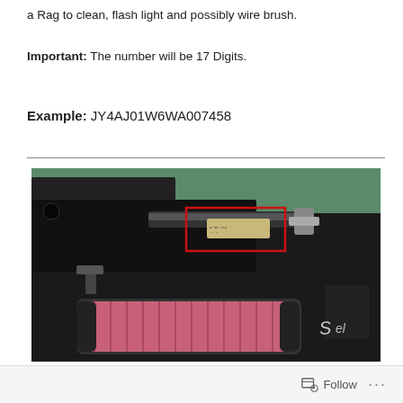a Rag to clean, flash light and possibly wire brush.
Important: The number will be 17 Digits.
Example: JY4AJ01W6WA007458
[Figure (photo): Photograph of a motorcycle engine bay showing a VIN plate highlighted with a red rectangle, with a K&N air filter visible in the foreground.]
Follow ...